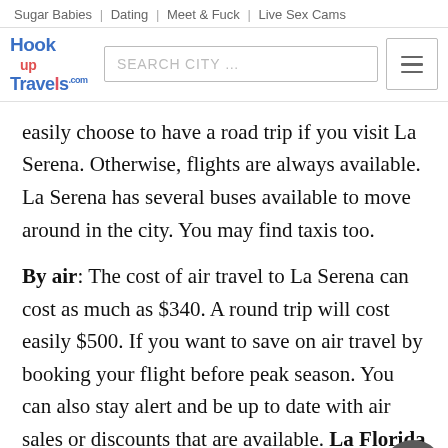Sugar Babies | Dating | Meet & Fuck | Live Sex Cams
[Figure (logo): HookUp Travels logo with search box and hamburger menu]
easily choose to have a road trip if you visit La Serena. Otherwise, flights are always available. La Serena has several buses available to move around in the city. You may find taxis too.
By air: The cost of air travel to La Serena can cost as much as $340. A round trip will cost easily $500. If you want to save on air travel by booking your flight before peak season. You can also stay alert and be up to date with air sales or discounts that are available. La Florida International Airport serves La Serena and caters to international flights.